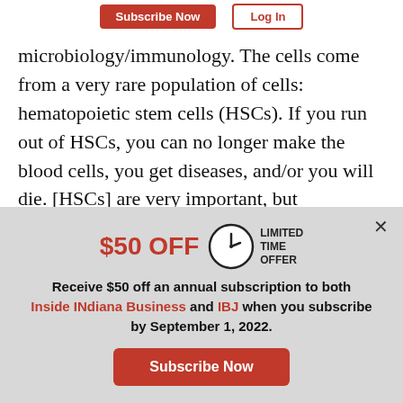Subscribe Now | Log In
microbiology/immunology. The cells come from a very rare population of cells: hematopoietic stem cells (HSCs). If you run out of HSCs, you can no longer make the blood cells, you get diseases, and/or you will die. [HSCs] are very important, but
$50 OFF LIMITED TIME OFFER
Receive $50 off an annual subscription to both Inside INdiana Business and IBJ when you subscribe by September 1, 2022.
Subscribe Now
Already a paid subscriber?
Log In